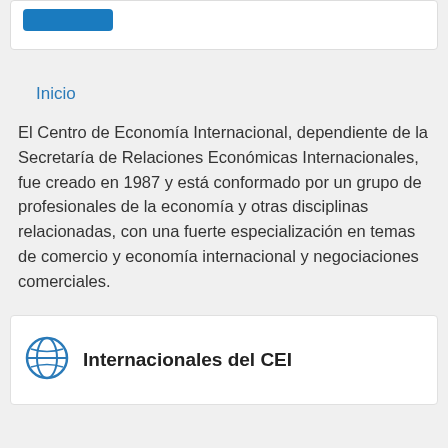[Figure (other): Top card with a blue button element]
Inicio
El Centro de Economía Internacional, dependiente de la Secretaría de Relaciones Económicas Internacionales, fue creado en 1987 y está conformado por un grupo de profesionales de la economía y otras disciplinas relacionadas, con una fuerte especialización en temas de comercio y economía internacional y negociaciones comerciales.
Internacionales del CEI